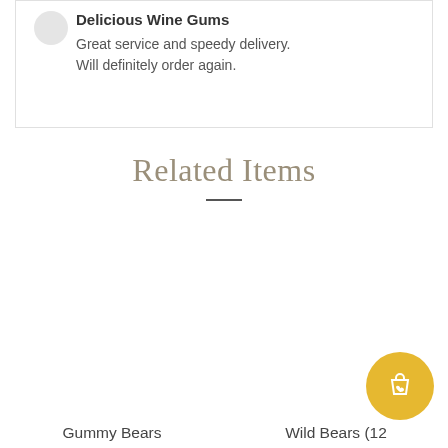Delicious Wine Gums
Great service and speedy delivery. Will definitely order again.
Related Items
Gummy Bears
Wild Bears (12